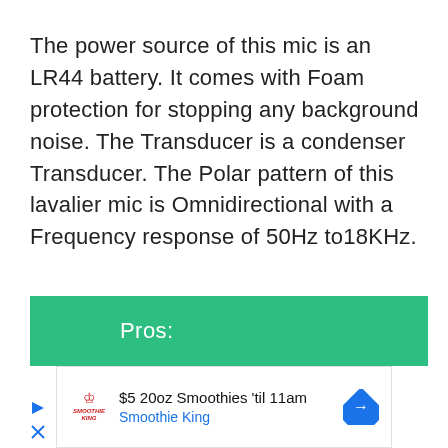The power source of this mic is an LR44 battery. It comes with Foam protection for stopping any background noise. The Transducer is a condenser Transducer. The Polar pattern of this lavalier mic is Omnidirectional with a Frequency response of 50Hz to18KHz.
Pros:
[Figure (other): Advertisement banner for Smoothie King: '$5 20oz Smoothies til 11am' with Smoothie King logo and navigation arrow icon]